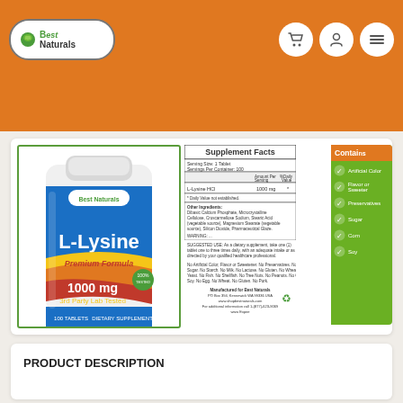Best Naturals
Search
[Figure (photo): Best Naturals L-Lysine 1000mg Premium Formula 3rd Party Lab Tested 100 Tablets Dietary Supplement bottle]
[Figure (infographic): Supplement Facts panel showing L-Lysine HCl 1000mg per tablet, 100 servings per container, with ingredients and manufacturer information]
[Figure (infographic): Contains panel on green background listing: Artificial Color, Flavor or Sweetener, Preservatives, Sugar, Corn, Soy — all with checkmark circles]
PRODUCT DESCRIPTION